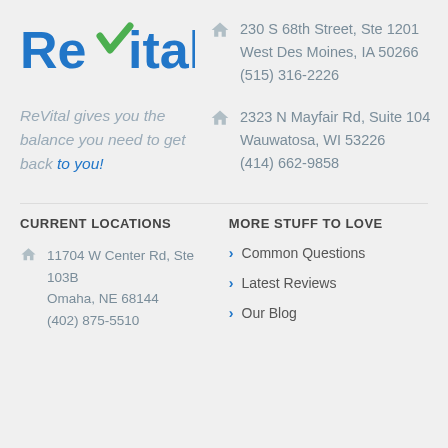[Figure (logo): ReVital logo with blue text and green checkmark]
ReVital gives you the balance you need to get back to you!
230 S 68th Street, Ste 1201
West Des Moines, IA 50266
(515) 316-2226
2323 N Mayfair Rd, Suite 104
Wauwatosa, WI 53226
(414) 662-9858
CURRENT LOCATIONS
MORE STUFF TO LOVE
11704 W Center Rd, Ste 103B
Omaha, NE 68144
(402) 875-5510
Common Questions
Latest Reviews
Our Blog